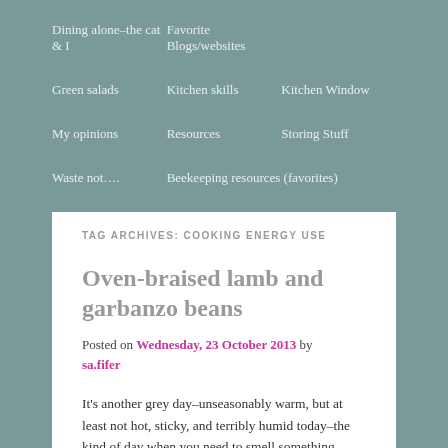Dining alone–the cat & I
Favorite Blogs/websites
Green salads
Kitchen skills
Kitchen Window
My opinions
Resources
Storing Stuff
Waste not….
Beekeeping resources (favorites)
TAG ARCHIVES: COOKING ENERGY USE
Oven-braised lamb and garbanzo beans
Posted on Wednesday, 23 October 2013 by sa.fifer
It's another grey day–unseasonably warm, but at least not hot, sticky, and terribly humid today–the kind of day when you need to smell something cooking–long, slow, and tantalizing.   I found lamb shoulder chops on special (2-